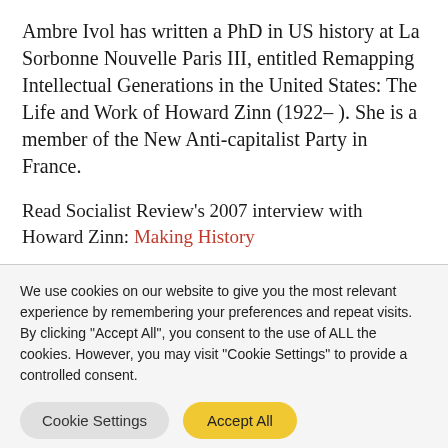Ambre Ivol has written a PhD in US history at La Sorbonne Nouvelle Paris III, entitled Remapping Intellectual Generations in the United States: The Life and Work of Howard Zinn (1922– ). She is a member of the New Anti-capitalist Party in France.
Read Socialist Review's 2007 interview with Howard Zinn: Making History
We use cookies on our website to give you the most relevant experience by remembering your preferences and repeat visits. By clicking "Accept All", you consent to the use of ALL the cookies. However, you may visit "Cookie Settings" to provide a controlled consent.